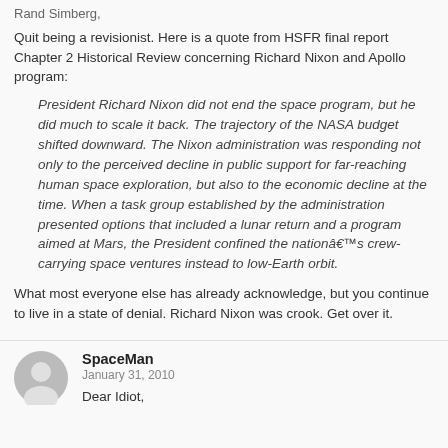Rand Simberg,
Quit being a revisionist. Here is a quote from HSFR final report Chapter 2 Historical Review concerning Richard Nixon and Apollo program:
President Richard Nixon did not end the space program, but he did much to scale it back. The trajectory of the NASA budget shifted downward. The Nixon administration was responding not only to the perceived decline in public support for far-reaching human space exploration, but also to the economic decline at the time. When a task group established by the administration presented options that included a lunar return and a program aimed at Mars, the President confined the nationâ€™s crew-carrying space ventures instead to low-Earth orbit.
What most everyone else has already acknowledge, but you continue to live in a state of denial. Richard Nixon was crook. Get over it.
SpaceMan
January 31, 2010
Dear Idiot,